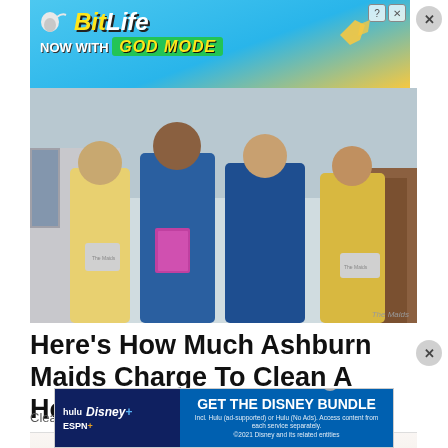[Figure (photo): BitLife advertisement banner with blue/yellow background showing 'NOW WITH GOD MODE' text and cartoon hand pointing]
[Figure (photo): Photo of four women in blue and yellow The Maids uniforms holding cleaning supplies in front of a house]
Here's How Much Ashburn Maids Charge To Clean A House
Cleaning Services | Search Ads | Sponsored
[Figure (photo): Faded/light photo of a person with head resting on hands]
[Figure (photo): Disney Bundle advertisement: GET THE DISNEY BUNDLE. Includes hulu, Disney+, ESPN+. Incl. Hulu (ad-supported) or Hulu (No Ads). Access content from each service separately. ©2021 Disney and its related entities]